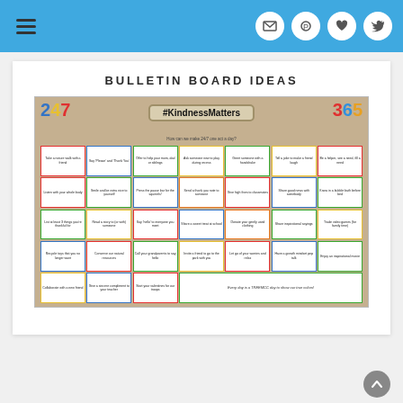Bulletin Board Ideas - website header with navigation icons
BULLETIN BOARD IDEAS
[Figure (photo): A bulletin board displaying '#KindnessMatters 24/7 365' with colorful activity cards arranged in a 7x5 grid. Cards include activities like 'Take a nature walk with a friend', 'Say Please and Thank You', 'Listen with your whole body', 'Smile and be extra nice to yourself', and many others promoting kindness and positive behavior.]